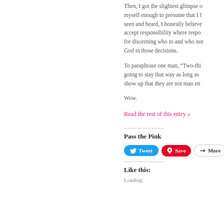Then, I got the slightest glimpse of myself enough to presume that I f... seen and heard, I honestly believe accept responsibility where respo... for discerning who to and who not God in those decisions.
To paraphrase one man, “Two-thi... going to stay that way as long as ... show up that they are not man en...
Wow.
Read the rest of this entry »
Pass the Pink
Like this:
Loading